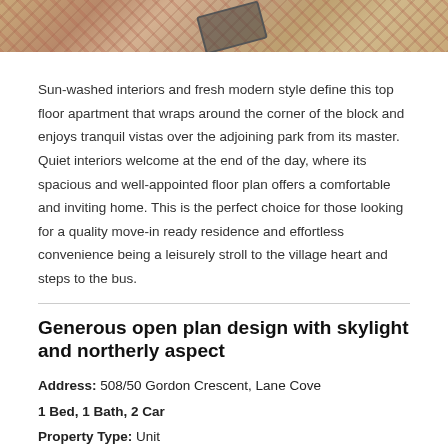[Figure (photo): Top portion of a photo showing decorative rugs or textiles with geometric patterns in warm reds, pinks, and earth tones, with what appears to be sunglasses resting on them]
Sun-washed interiors and fresh modern style define this top floor apartment that wraps around the corner of the block and enjoys tranquil vistas over the adjoining park from its master. Quiet interiors welcome at the end of the day, where its spacious and well-appointed floor plan offers a comfortable and inviting home. This is the perfect choice for those looking for a quality move-in ready residence and effortless convenience being a leisurely stroll to the village heart and steps to the bus.
Generous open plan design with skylight and northerly aspect
Address: 508/50 Gordon Crescent, Lane Cove
1 Bed, 1 Bath, 2 Car
Property Type: Unit